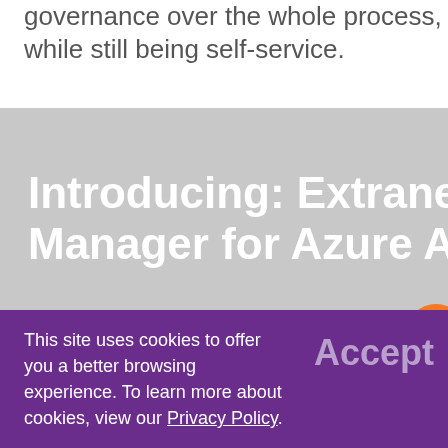governance over the whole process, while still being self-service.
[Figure (screenshot): Promotional banner with gray background showing 'Introducing: Extranet User Manager for Azure AD' title and list item '1. You or your partners request access through EUM']
Learn more
This site uses cookies to offer you a better browsing experience. To learn more about cookies, view our Privacy Policy.
Accept